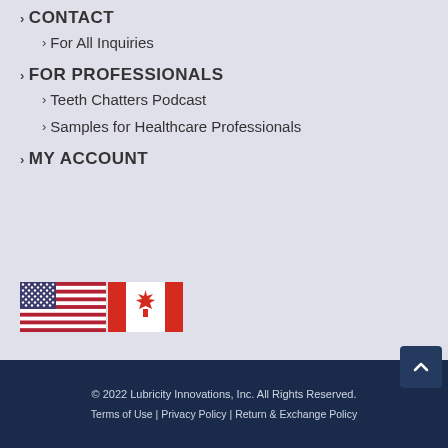› CONTACT
› For All Inquiries
› FOR PROFESSIONALS
› Teeth Chatters Podcast
› Samples for Healthcare Professionals
› MY ACCOUNT
[Figure (illustration): US flag and Canadian flag icons side by side]
© 2022 Lubricity Innovations, Inc. All Rights Reserved.
Terms of Use | Privacy Policy | Return & Exchange Policy